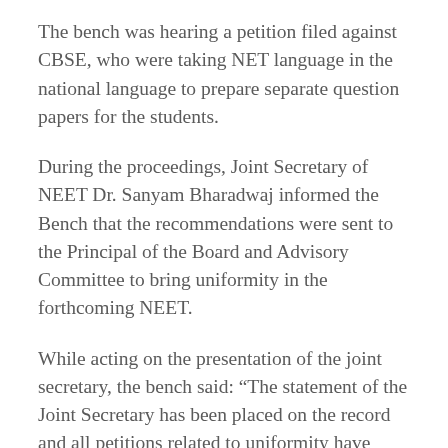The bench was hearing a petition filed against CBSE, who were taking NET language in the national language to prepare separate question papers for the students.
During the proceedings, Joint Secretary of NEET Dr. Sanyam Bharadwaj informed the Bench that the recommendations were sent to the Principal of the Board and Advisory Committee to bring uniformity in the forthcoming NEET.
While acting on the presentation of the joint secretary, the bench said: “The statement of the Joint Secretary has been placed on the record and all petitions related to uniformity have been settled in NEET.”
Earlier, the Union Human Resource Development Ministry, while responding to the responses from the students of the students of India, said that by...